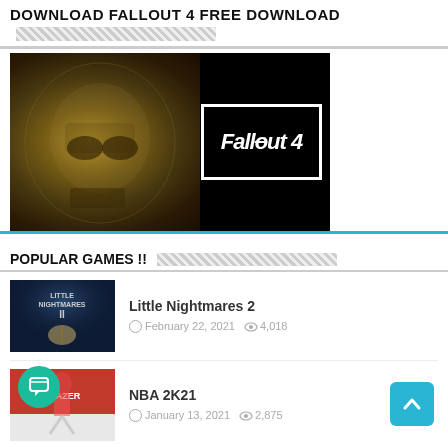DOWNLOAD FALLOUT 4 FREE DOWNLOAD
[Figure (photo): Fallout 4 promotional image showing a power armor helmet on the left and the Fallout 4 logo in a white-bordered box on the right against a black background]
POPULAR GAMES !!
[Figure (photo): Little Nightmares 2 game thumbnail with dark blue atmospheric scene]
Little Nightmares 2
February 22, 2021  4,018
[Figure (photo): NBA 2K21 game thumbnail with basketball player in red and white uniform]
NBA 2K21
January 13, 2021  2,875
[Figure (photo): Little Nightmares game thumbnail with dark brown atmospheric scene]
Little Nightmares